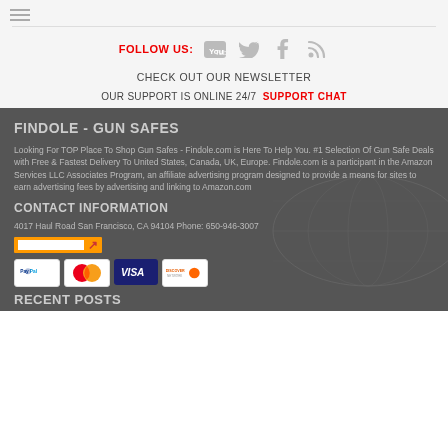☰ (hamburger menu)
FOLLOW US: [YouTube] [Twitter] [Facebook] [RSS]
CHECK OUT OUR NEWSLETTER
OUR SUPPORT IS ONLINE 24/7  SUPPORT CHAT
FINDOLE - GUN SAFES
Looking For TOP Place To Shop Gun Safes - Findole.com is Here To Help You. #1 Selection Of Gun Safe Deals with Free & Fastest Delivery To United States, Canada, UK, Europe. Findole.com is a participant in the Amazon Services LLC Associates Program, an affiliate advertising program designed to provide a means for sites to earn advertising fees by advertising and linking to Amazon.com
CONTACT INFORMATION
4017 Haul Road San Francisco, CA 94104 Phone: 650-946-3007
[Figure (other): Payment method badges: PayPal, MasterCard, Visa, Discover]
RECENT POSTS